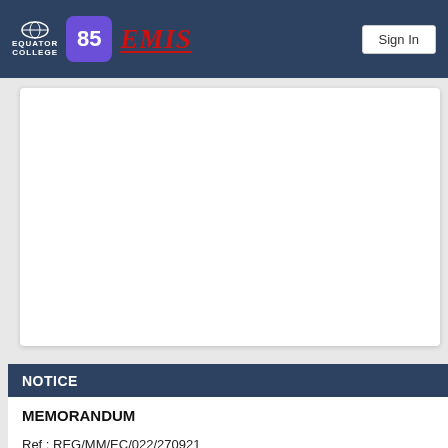EQUATOR COLLEGE | 85 | EMIS | Sign In
NOTICE
MEMORANDUM
Ref : REG/MM/EC/022/270921
Date : 27th September 2021
From : The Management